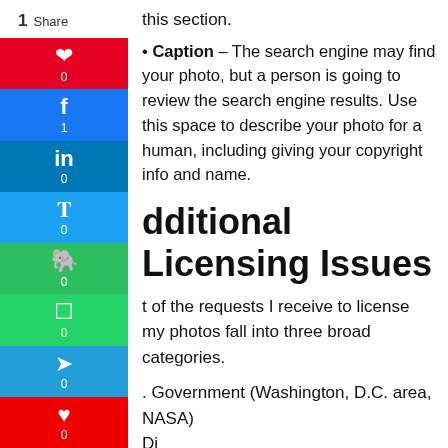this section.
Caption – The search engine may find your photo, but a person is going to review the search engine results. Use this space to describe your photo for a human, including giving your copyright info and name.
Additional Licensing Issues
Most of the requests I receive to license my photos fall into three broad categories.
1. Government (Washington, D.C. area, NASA) Di...